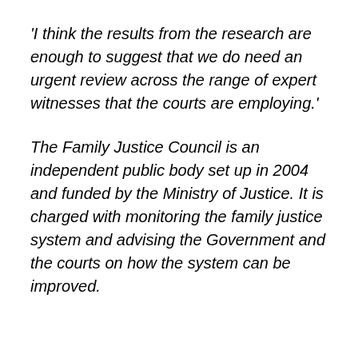'I think the results from the research are enough to suggest that we do need an urgent review across the range of expert witnesses that the courts are employing.'
The Family Justice Council is an independent public body set up in 2004 and funded by the Ministry of Justice. It is charged with monitoring the family justice system and advising the Government and the courts on how the system can be improved.